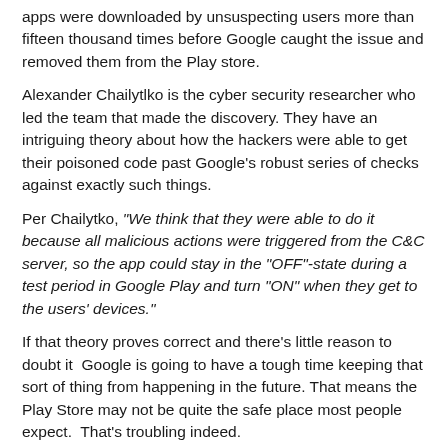apps were downloaded by unsuspecting users more than fifteen thousand times before Google caught the issue and removed them from the Play store.
Alexander Chailytlko is the cyber security researcher who led the team that made the discovery. They have an intriguing theory about how the hackers were able to get their poisoned code past Google's robust series of checks against exactly such things.
Per Chailytko, "We think that they were able to do it because all malicious actions were triggered from the C&C server, so the app could stay in the "OFF"-state during a test period in Google Play and turn "ON" when they get to the users' devices."
If that theory proves correct and there's little reason to doubt it  Google is going to have a tough time keeping that sort of thing from happening in the future. That means the Play Store may not be quite the safe place most people expect.  That's troubling indeed.
Used with permission from Article Aggregator